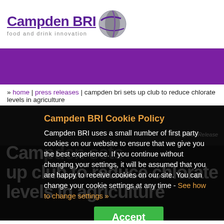[Figure (logo): Campden BRI logo with globe icon and tagline 'food and drink innovation']
[Figure (other): Purple banner strip across page width]
» home | press releases | campden bri sets up club to reduce chlorate levels in agriculture
Campden BRI sets up club to reduce chlorate levels in agriculture [18 Press Release]
Campden BRI Cookie Policy
Campden BRI uses a small number of first party cookies on our website to ensure that we give you the best experience. If you continue without changing your settings, it will be assumed that you are happy to receive cookies on our site. You can change your cookie settings at any time - See how to change settings »
Accept